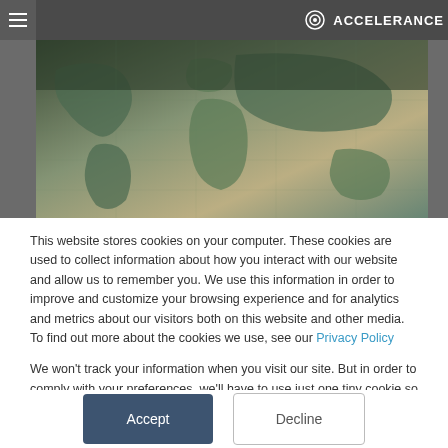ACCELERANCE
[Figure (illustration): World map with vintage/antique style in muted teal and beige tones, partially overlaid by dark header]
This website stores cookies on your computer. These cookies are used to collect information about how you interact with our website and allow us to remember you. We use this information in order to improve and customize your browsing experience and for analytics and metrics about our visitors both on this website and other media. To find out more about the cookies we use, see our Privacy Policy
We won't track your information when you visit our site. But in order to comply with your preferences, we'll have to use just one tiny cookie so that you're not asked to make this choice again.
Accept
Decline